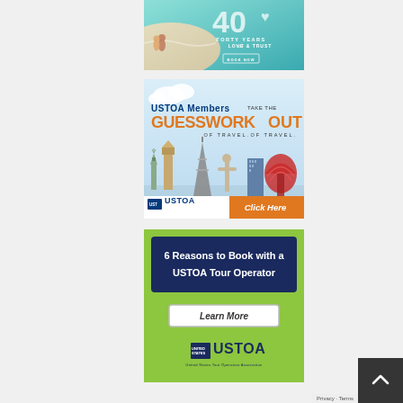[Figure (illustration): Advertisement banner for a travel company celebrating 40 years of Love & Trust, showing a couple on a beach with a teal ocean background, large '40' numeral, heart icon, and a 'Book Now' button.]
[Figure (illustration): USTOA Members advertisement with text 'USTOA Members take the GUESSWORK OUT of travel', featuring a skyline illustration of world landmarks (Statue of Liberty, Big Ben, Eiffel Tower, Christ the Redeemer, etc.), USTOA logo, and orange 'Click Here' button.]
[Figure (illustration): USTOA advertisement with green background, dark navy box reading '6 Reasons to Book with a USTOA Tour Operator', a 'Learn More' button, and the USTOA logo with full name 'United States Tour Operators Association'.]